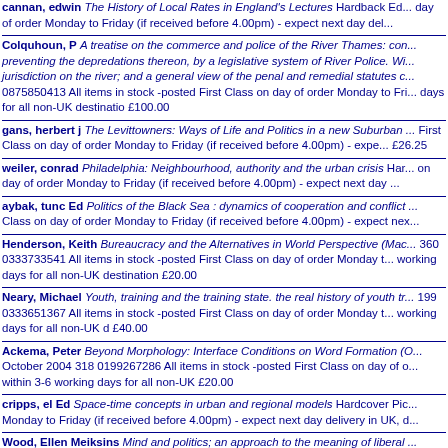cannan, edwin The History of Local Rates in England's Lectures Hardback Ed. ... day of order Monday to Friday (if received before 4.00pm) - expect next day del...
Colquhoun, P A treatise on the commerce and police of the River Thames: con... preventing the depredations thereon, by a legislative system of River Police. Wi... jurisdiction on the river; and a general view of the penal and remedial statutes c... 0875850413 All items in stock -posted First Class on day of order Monday to Fri... days for all non-UK destinatio £100.00
gans, herbert j The Levittowners: Ways of Life and Politics in a new Suburban ... First Class on day of order Monday to Friday (if received before 4.00pm) - expe... £26.25
weiler, conrad Philadelphia: Neighbourhood, authority and the urban crisis Har... on day of order Monday to Friday (if received before 4.00pm) - expect next day ...
aybak, tunc Ed Politics of the Black Sea : dynamics of cooperation and conflict... Class on day of order Monday to Friday (if received before 4.00pm) - expect nex...
Henderson, Keith Bureaucracy and the Alternatives in World Perspective (Mac... 360 0333733541 All items in stock -posted First Class on day of order Monday t... working days for all non-UK destination £20.00
Neary, Michael Youth, training and the training state. the real history of youth tr... 199 0333651367 All items in stock -posted First Class on day of order Monday t... working days for all non-UK d £40.00
Ackema, Peter Beyond Morphology: Interface Conditions on Word Formation (O... October 2004 318 0199267286 All items in stock -posted First Class on day of o... within 3-6 working days for all non-UK £20.00
cripps, el Ed Space-time concepts in urban and regional models Hardcover Pic... Monday to Friday (if received before 4.00pm) - expect next day delivery in UK, d...
Wood, Ellen Meiksins Mind and politics; an approach to the meaning of liberal... 0520020294 All items in stock -posted First Class on day of order Monday to Fri... days for all non-UK £26.00
Mulkay, M. J. Functionalism, exchange and theoretical strategy [by] M. J. Mulka...